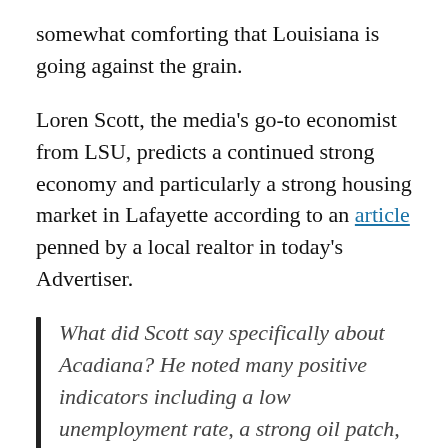somewhat comforting that Louisiana is going against the grain.
Loren Scott, the media's go-to economist from LSU, predicts a continued strong economy and particularly a strong housing market in Lafayette according to an article penned by a local realtor in today's Advertiser.
What did Scott say specifically about Acadiana? He noted many positive indicators including a low unemployment rate, a strong oil patch, a large number of building projects, LUS fiber system, hospital expansions, Acadian Ambulance expansion,